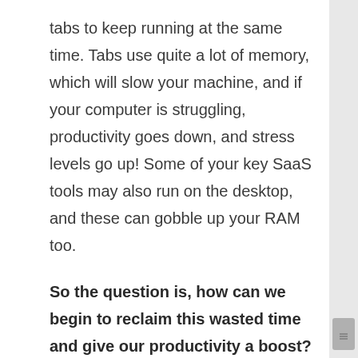tabs to keep running at the same time. Tabs use quite a lot of memory, which will slow your machine, and if your computer is struggling, productivity goes down, and stress levels go up! Some of your key SaaS tools may also run on the desktop, and these can gobble up your RAM too.
So the question is, how can we begin to reclaim this wasted time and give our productivity a boost?
A browser that's just